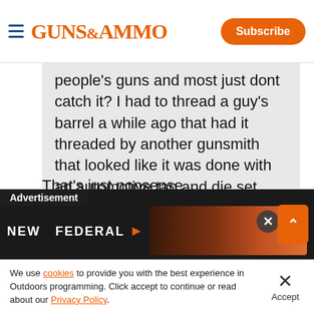GUNS&AMMO | Subscribe
people's guns and most just dont catch it? I had to thread a guy's barrel a while ago that had it threaded by another gunsmith that looked like it was done with an automotive tap and die set. The guy had a baffle strike when he used his suppressor with it.
That's just nonsense...
[Figure (screenshot): Advertisement overlay showing 'NEW FEDERAL' with dark background and orange imagery]
We use cookies to provide you with the best experience in Outdoors programming. Click accept to continue or read about our Privacy Policy.